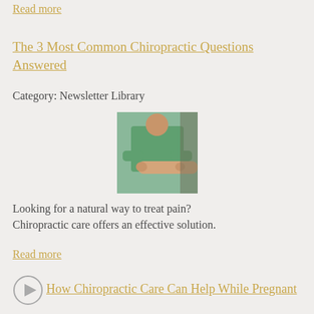Read more
The 3 Most Common Chiropractic Questions Answered
Category: Newsletter Library
[Figure (photo): A chiropractor in green scrubs performing a chiropractic adjustment on a patient's arm/shoulder]
Looking for a natural way to treat pain? Chiropractic care offers an effective solution.
Read more
How Chiropractic Care Can Help While Pregnant